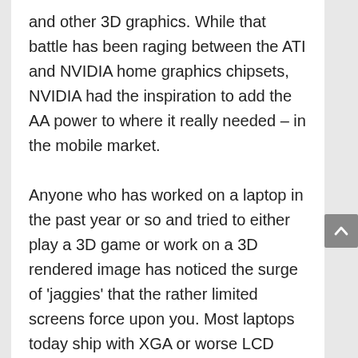and other 3D graphics. While that battle has been raging between the ATI and NVIDIA home graphics chipsets, NVIDIA had the inspiration to add the AA power to where it really needed – in the mobile market. Anyone who has worked on a laptop in the past year or so and tried to either play a 3D game or work on a 3D rendered image has noticed the surge of 'jaggies' that the rather limited screens force upon you. Most laptops today ship with XGA or worse LCD displays which effectively limit the number of pixels to 1024×768. That is about one-third of the amount of pixels of a 1600×1200 monitor. To compensate for the lack of a higher resolution, AA is in order.